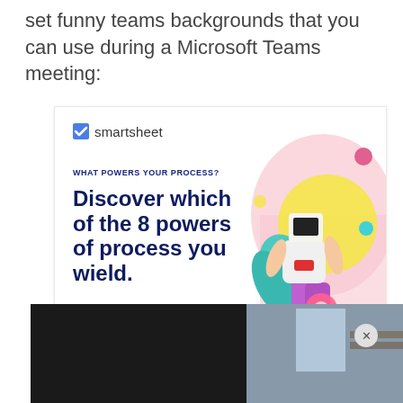set funny teams backgrounds that you can use during a Microsoft Teams meeting:
[Figure (infographic): Smartsheet advertisement. Logo with checkbox and 'smartsheet' text. Tagline: 'WHAT POWERS YOUR PROCESS?' Headline: 'Discover which of the 8 powers of process you wield.' Blue 'Take the quiz' button. Colorful 3D illustrated character on the right side.]
[Figure (photo): Partial photo strip at the bottom of the page showing what appears to be a room interior, partially obscured. A circular close/dismiss button with an X is visible on the right side.]